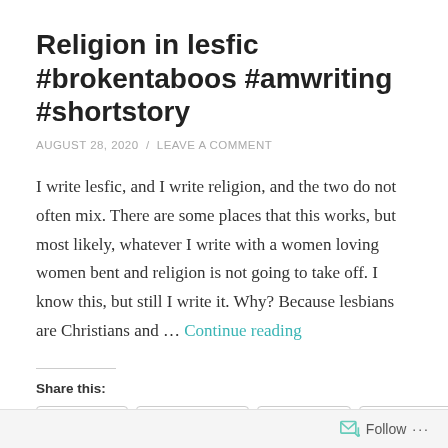Religion in lesfic #brokentaboos #amwriting #shortstory
AUGUST 28, 2020  /  LEAVE A COMMENT
I write lesfic, and I write religion, and the two do not often mix. There are some places that this works, but most likely, whatever I write with a women loving women bent and religion is not going to take off. I know this, but still I write it. Why? Because lesbians are Christians and … Continue reading
Share this:
Twitter  Facebook  Tumblr  Pinterest